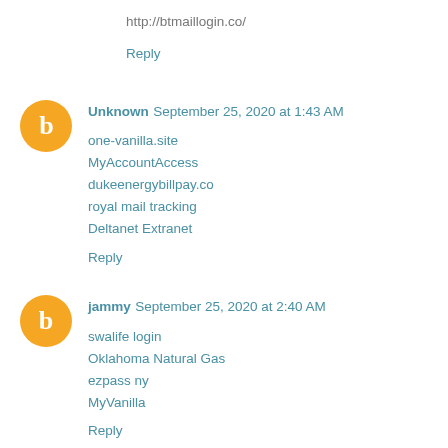http://btmaillogin.co/
Reply
Unknown  September 25, 2020 at 1:43 AM
one-vanilla.site
MyAccountAccess
dukeenergybillpay.co
royal mail tracking
Deltanet Extranet
Reply
jammy  September 25, 2020 at 2:40 AM
swalife login
Oklahoma Natural Gas
ezpass ny
MyVanilla
Reply